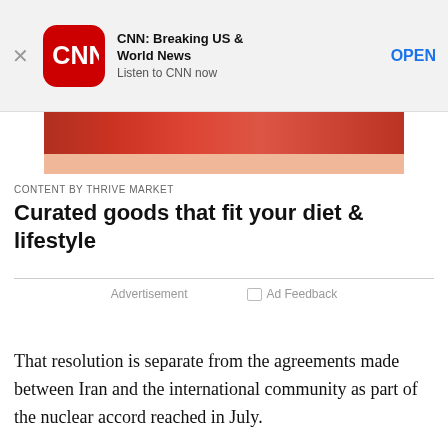[Figure (screenshot): CNN app banner with red CNN logo, app name 'CNN: Breaking US & World News', subtitle 'Listen to CNN now', and OPEN button]
[Figure (photo): Partial advertisement image with red and peach/salmon colored bands representing a Thrive Market product ad]
CONTENT BY THRIVE MARKET
Curated goods that fit your diet & lifestyle
Advertisement
Ad Feedback
That resolution is separate from the agreements made between Iran and the international community as part of the nuclear accord reached in July.